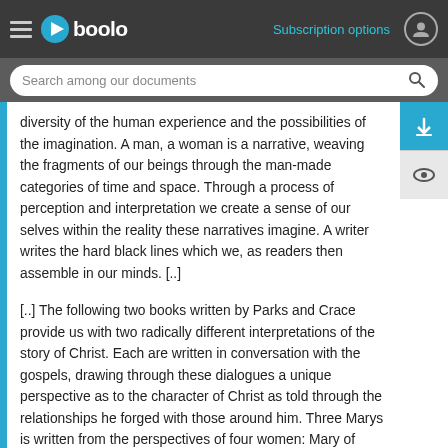Gboolo | Subscription options
diversity of the human experience and the possibilities of the imagination. A man, a woman is a narrative, weaving the fragments of our beings through the man-made categories of time and space. Through a process of perception and interpretation we create a sense of our selves within the reality these narratives imagine. A writer writes the hard black lines which we, as readers then assemble in our minds. [..]
[..] The following two books written by Parks and Crace provide us with two radically different interpretations of the story of Christ. Each are written in conversation with the gospels, drawing through these dialogues a unique perspective as to the character of Christ as told through the relationships he forged with those around him. Three Marys is written from the perspectives of four women: Mary of Magdala, Mary of Bethany, Miriam, and Martha. Each retells the story of Christ, creating his character through their memories while they create their own identities in relation to these stories. [..]